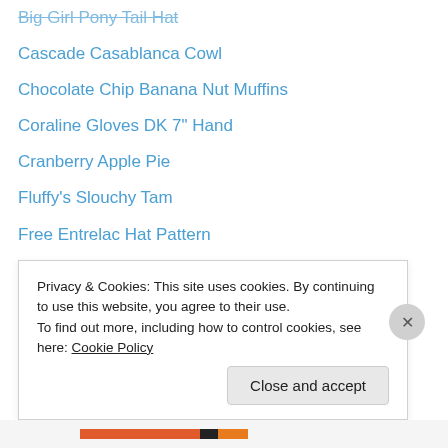Big Girl Pony Tail Hat
Cascade Casablanca Cowl
Chocolate Chip Banana Nut Muffins
Coraline Gloves DK 7" Hand
Cranberry Apple Pie
Fluffy's Slouchy Tam
Free Entrelac Hat Pattern
Girlie Summer Socks
Making a Digital Camera Case
Megan's Cap
My New Hat
This is Me
Victoria's Cloche
Wavy Panda Silk Socks
Privacy & Cookies: This site uses cookies. By continuing to use this website, you agree to their use. To find out more, including how to control cookies, see here: Cookie Policy